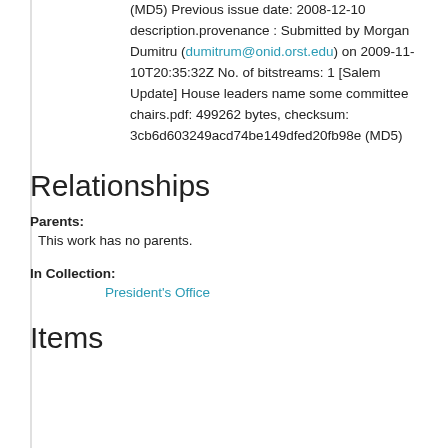(MD5) Previous issue date: 2008-12-10 description.provenance : Submitted by Morgan Dumitru (dumitrum@onid.orst.edu) on 2009-11-10T20:35:32Z No. of bitstreams: 1 [Salem Update] House leaders name some committee chairs.pdf: 499262 bytes, checksum: 3cb6d603249acd74be149dfed20fb98e (MD5)
Relationships
Parents:
This work has no parents.
In Collection:
President's Office
Items